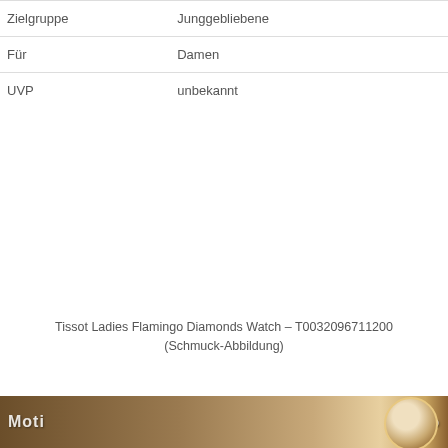| Zielgruppe | Junggebliebene |
| Für | Damen |
| UVP | unbekannt |
Tissot Ladies Flamingo Diamonds Watch – T0032096711200 (Schmuck-Abbildung)
[Figure (photo): Bottom banner image with brown/tan background, partially visible text and a flamingo-shaped decorative element on the right side]